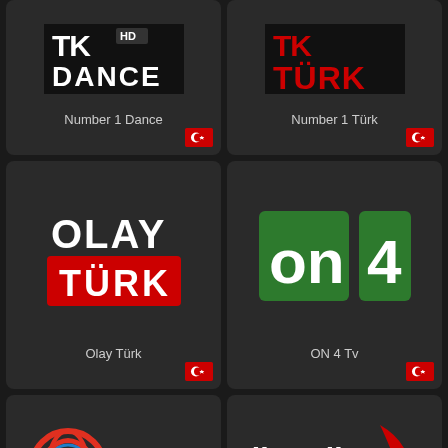[Figure (logo): Number 1 Dance TV channel logo card with Turkish flag]
[Figure (logo): Number 1 Türk TV channel logo card with Turkish flag]
[Figure (logo): Olay Türk TV channel logo card with Turkish flag]
[Figure (logo): ON 4 Tv channel logo card with Turkish flag]
[Figure (logo): ON medya TV channel logo card]
[Figure (logo): Öncü Haber TV channel logo card]